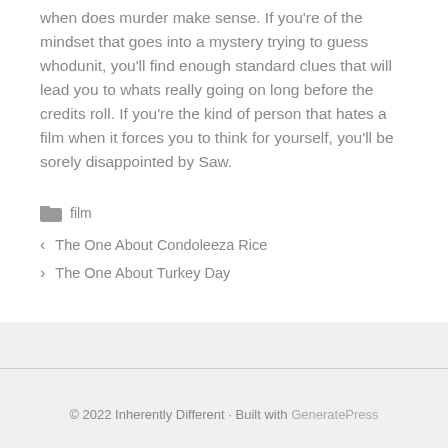when does murder make sense. If you're of the mindset that goes into a mystery trying to guess whodunit, you'll find enough standard clues that will lead you to whats really going on long before the credits roll. If you're the kind of person that hates a film when it forces you to think for yourself, you'll be sorely disappointed by Saw.
film
The One About Condoleeza Rice
The One About Turkey Day
© 2022 Inherently Different · Built with GeneratePress